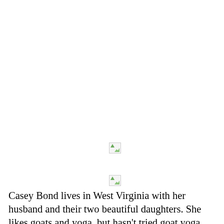[Figure (illustration): Small broken/placeholder image icon with a green mountain/landscape thumbnail, positioned center-left of page]
[Figure (illustration): Small broken/placeholder image icon with a green mountain/landscape thumbnail, positioned below the first image]
Casey Bond lives in West Virginia with her husband and their two beautiful daughters. She likes goats and yoga, but hasn't tried goat yoga because the family goat is so big he might break her back. Seriously, he's the size of a pony. Her favorite books are the ones that contain magical